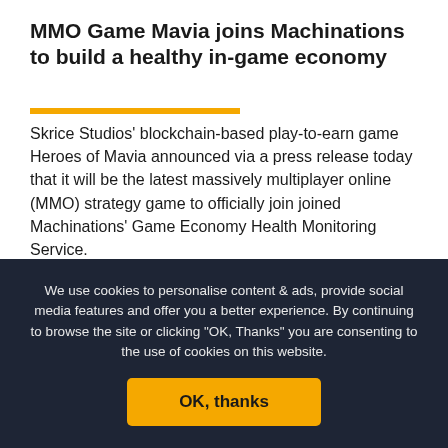MMO Game Mavia joins Machinations to build a healthy in-game economy
Skrice Studios' blockchain-based play-to-earn game Heroes of Mavia announced via a press release today that it will be the latest massively multiplayer online (MMO) strategy game to officially join joined Machinations' Game Economy Health Monitoring Service.
The “Verified by Machinations” seal from the leading game economy platform Machinations will enhance Mavia's commitment to building a sustainable and healthy in-game economy for the benefit of all stakeholders.
Machinations’ seal will be given to Mavia upon meeting the criteria
We use cookies to personalise content & ads, provide social media features and offer you a better experience. By continuing to browse the site or clicking "OK, Thanks" you are consenting to the use of cookies on this website.
OK, thanks